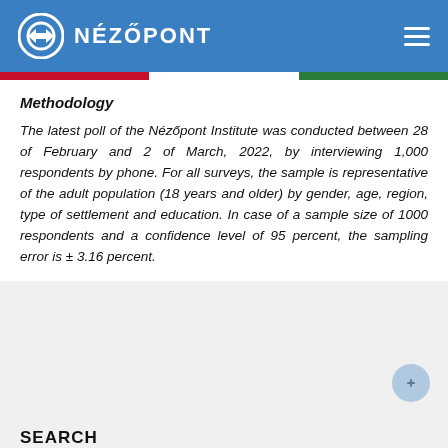NÉZŐPONT
Methodology
The latest poll of the Nézőpont Institute was conducted between 28 of February and 2 of March, 2022, by interviewing 1,000 respondents by phone. For all surveys, the sample is representative of the adult population (18 years and older) by gender, age, region, type of settlement and education. In case of a sample size of 1000 respondents and a confidence level of 95 percent, the sampling error is ± 3.16 percent.
SEARCH